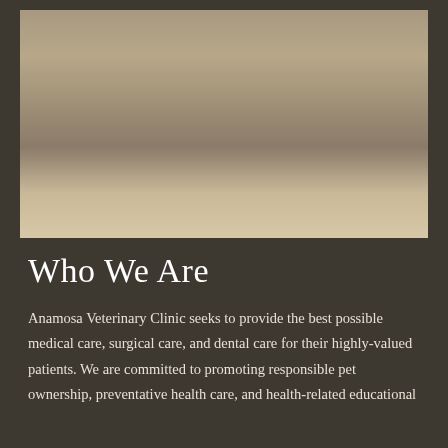[Figure (photo): Group photo of Anamosa Veterinary Clinic staff standing outside in front of a building. The group includes approximately 25 people wearing various colored scrubs and casual clothing, along with a dog. They are posing on a paved area with a stone building facade visible in the background.]
Who We Are
Anamosa Veterinary Clinic seeks to provide the best possible medical care, surgical care, and dental care for their highly-valued patients. We are committed to promoting responsible pet ownership, preventative health care, and health-related educational